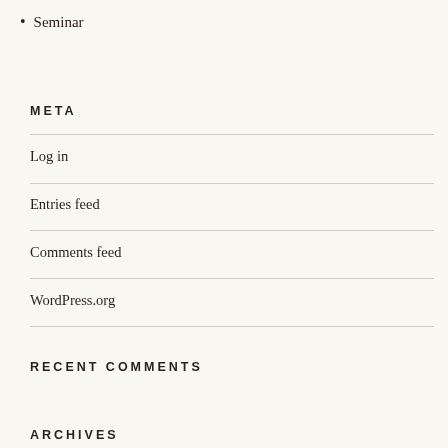Seminar
META
Log in
Entries feed
Comments feed
WordPress.org
RECENT COMMENTS
ARCHIVES